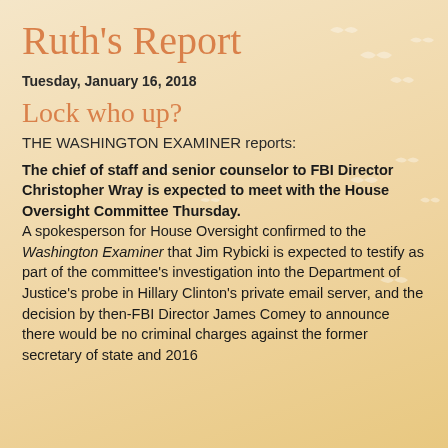Ruth's Report
Tuesday, January 16, 2018
Lock who up?
THE WASHINGTON EXAMINER reports:
The chief of staff and senior counselor to FBI Director Christopher Wray is expected to meet with the House Oversight Committee Thursday. A spokesperson for House Oversight confirmed to the Washington Examiner that Jim Rybicki is expected to testify as part of the committee's investigation into the Department of Justice's probe in Hillary Clinton's private email server, and the decision by then-FBI Director James Comey to announce there would be no criminal charges against the former secretary of state and 2016